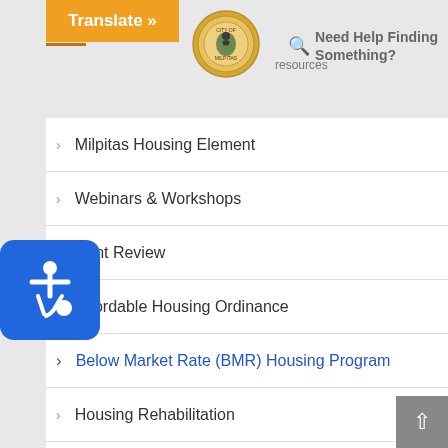Translate » | Resources | City of Milpitas | Need Help Finding Something?
Milpitas Housing Element
Webinars & Workshops
Rent Review
Affordable Housing Ordinance
Below Market Rate (BMR) Housing Program
Housing Rehabilitation
Federal Program | Community Development Block Grant (CDBG)
Mobile Home Parks
Renters